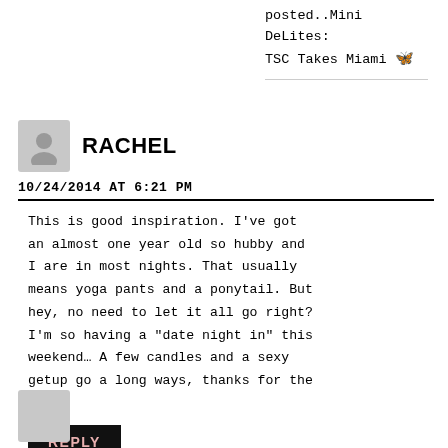posted..Mini DeLites: TSC Takes Miami 🦋
RACHEL
10/24/2014 AT 6:21 PM
This is good inspiration. I've got an almost one year old so hubby and I are in most nights. That usually means yoga pants and a ponytail. But hey, no need to let it all go right? I'm so having a "date night in" this weekend… A few candles and a sexy getup go a long ways, thanks for the post!
REPLY